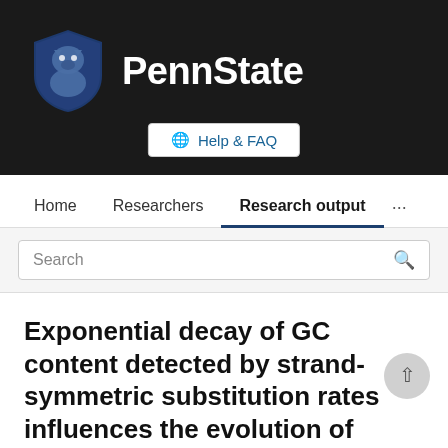[Figure (logo): Penn State University logo with lion shield and PennState wordmark on dark background]
Help & FAQ
Home   Researchers   Research output   ...
Search
Exponential decay of GC content detected by strand-symmetric substitution rates influences the evolution of isochore structure